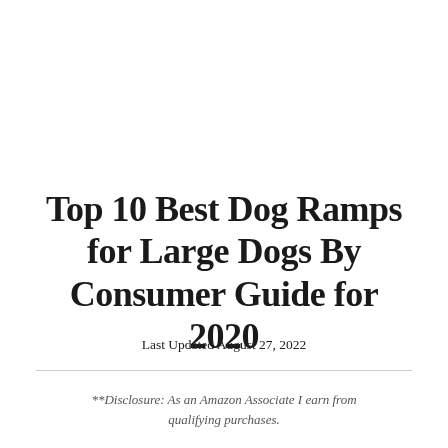Top 10 Best Dog Ramps for Large Dogs By Consumer Guide for 2020
Last Updated August 27, 2022
**Disclosure: As an Amazon Associate I earn from qualifying purchases.